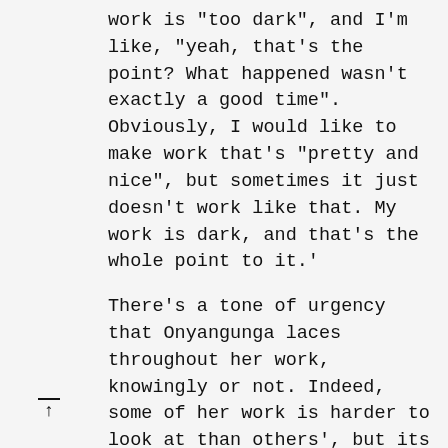work is "too dark", and I'm like, "yeah, that's the point? What happened wasn't exactly a good time". Obviously, I would like to make work that's "pretty and nice", but sometimes it just doesn't work like that. My work is dark, and that's the whole point to it.'
There's a tone of urgency that Onyangunga laces throughout her work, knowingly or not. Indeed, some of her work is harder to look at than others', but its place on the world stage - one which works hard to successfully rewrite history's teaching and wrongdoing - is second to none. No matter how gruesome a subject she may be dealing with, her level of sensitivity and care towards her work is extraordinary, and although her images deal with harrowing issues of colonisation, they are in no way offensive, instead, quite the opposite. The only 'harmful ideas' that exist as part of